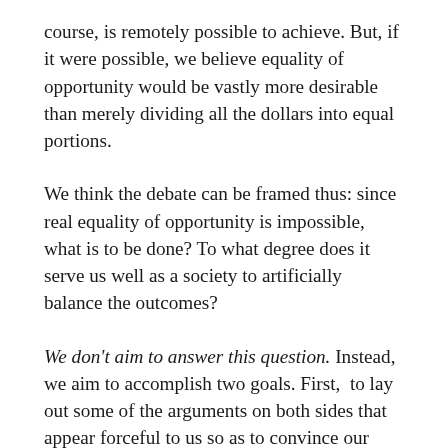course, is remotely possible to achieve. But, if it were possible, we believe equality of opportunity would be vastly more desirable than merely dividing all the dollars into equal portions.
We think the debate can be framed thus: since real equality of opportunity is impossible, what is to be done? To what degree does it serve us well as a society to artificially balance the outcomes?
We don't aim to answer this question. Instead, we aim to accomplish two goals. First, to lay out some of the arguments on both sides that appear forceful to us so as to convince our readers that the question is difficult and the other side should not be casually dismissed. Second, to point out that however much we ultimately decide to redistribute wealth, there are potentially both good and